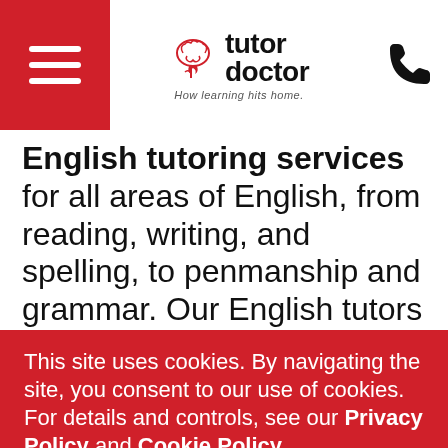[Figure (logo): Tutor Doctor logo with brain icon and tagline 'How learning hits home.']
English tutoring services for all areas of English, from reading, writing, and spelling, to penmanship and grammar. Our English tutors in Santa Monica come to your home for sessions so your
This site uses cookies. By navigating the site, you consent to our use of cookies. For details and controls, see our Privacy Policy and Cookie Policy.
Ok